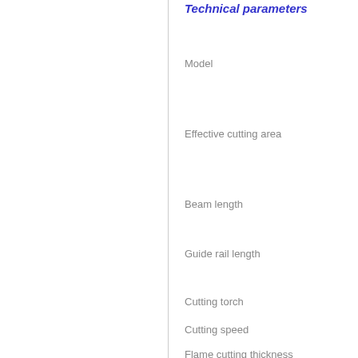Technical parameters
Model
Effective cutting area
Beam length
Guide rail length
Cutting torch
Cutting speed
Flame cutting thickness
Plasma cutting thickness
Torch lifting distance